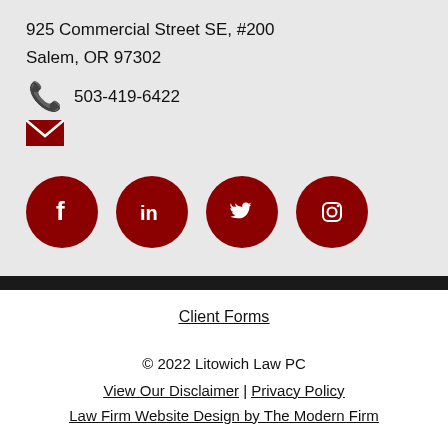925 Commercial Street SE, #200
Salem, OR 97302
503-419-6422
[Figure (infographic): Dark red envelope icon]
[Figure (infographic): Four dark red circular social media icons: Facebook, LinkedIn, Twitter, Instagram]
Client Forms
© 2022 Litowich Law PC
View Our Disclaimer | Privacy Policy
Law Firm Website Design by The Modern Firm